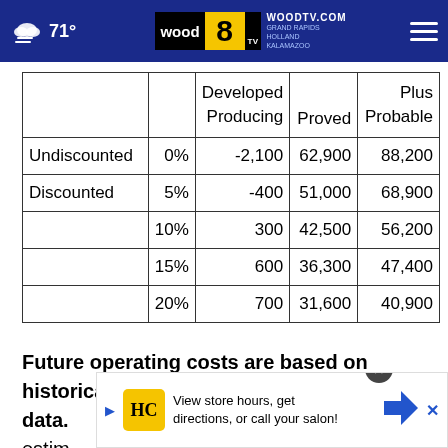71° | WOODTV.COM GRAND RAPIDS HOLLAND KALAMAZOO
|  |  | Developed Producing | Proved | Plus Probable |
| --- | --- | --- | --- | --- |
| Undiscounted | 0% | -2,100 | 62,900 | 88,200 |
| Discounted | 5% | -400 | 51,000 | 68,900 |
|  | 10% | 300 | 42,500 | 56,200 |
|  | 15% | 600 | 36,300 | 47,400 |
|  | 20% | 700 | 31,600 | 40,900 |
Future operating costs are based on historical data. When unavailable, they were estimated the